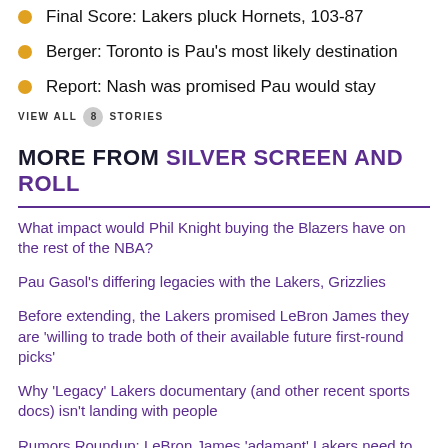Final Score: Lakers pluck Hornets, 103-87
Berger: Toronto is Pau's most likely destination
Report: Nash was promised Pau would stay
VIEW ALL 8 STORIES
MORE FROM SILVER SCREEN AND ROLL
What impact would Phil Knight buying the Blazers have on the rest of the NBA?
Pau Gasol's differing legacies with the Lakers, Grizzlies
Before extending, the Lakers promised LeBron James they are 'willing to trade both of their available future first-round picks'
Why 'Legacy' Lakers documentary (and other recent sports docs) isn't landing with people
Rumors Roundup: LeBron James 'adamant' Lakers need to trade for Kyrie Irving